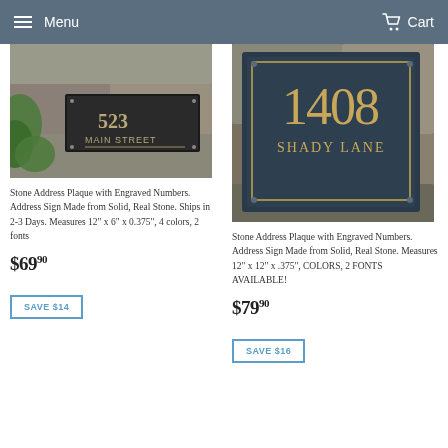Menu   Cart
[Figure (photo): Stone address plaque mounted on stone wall showing house number and MAIN STREET text]
Stone Address Plaque with Engraved Numbers. Address Sign Made from Solid, Real Stone. Ships in 2-3 Days. Measures 12" x 6" x 0.375", 4 colors, 2 fonts
$69.90
SAVE $14
[Figure (photo): Stone address plaque mounted on stone wall showing 1408 SHADY LANE in gold lettering on dark slate background]
Stone Address Plaque with Engraved Numbers. Address Sign Made from Solid, Real Stone. Measures 12" x 12" x .375", COLORS, 2 FONTS AVAILABLE!
$79.90
SAVE $16